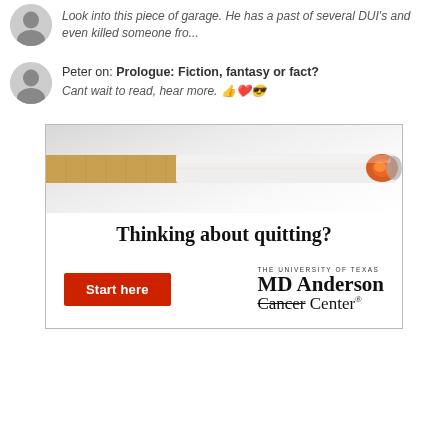Look into this piece of garage. He has a past of several DUI's and even killed someone fro...
Peter on: Prologue: Fiction, fantasy or fact? Cant wait to read, hear more. 👍❤️😎
[Figure (illustration): MD Anderson Cancer Center advertisement featuring a cigarette image, text 'Thinking about quitting?', a red 'Start here' button, and the University of Texas MD Anderson Cancer Center logo with 'Cancer' struck through.]